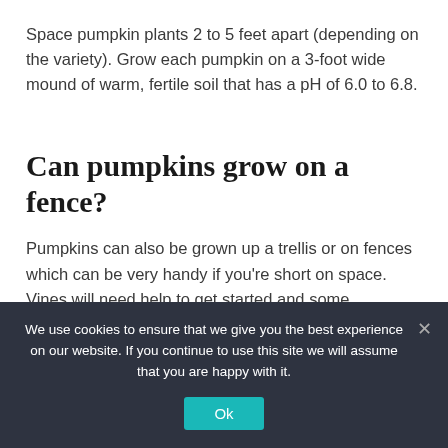Space pumpkin plants 2 to 5 feet apart (depending on the variety). Grow each pumpkin on a 3-foot wide mound of warm, fertile soil that has a pH of 6.0 to 6.8.
Can pumpkins grow on a fence?
Pumpkins can also be grown up a trellis or on fences which can be very handy if you're short on space. Vines will need help to get started and some occasional redirecting to keep them where you want them.
Pumpkins...
We use cookies to ensure that we give you the best experience on our website. If you continue to use this site we will assume that you are happy with it.